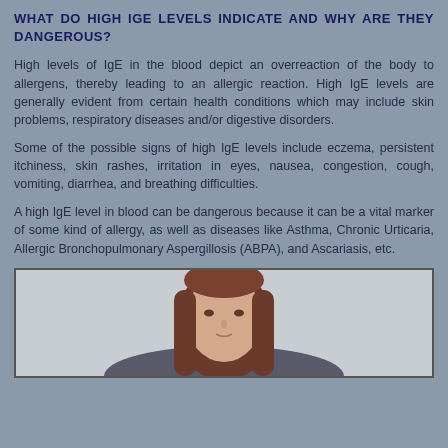WHAT DO HIGH IGE LEVELS INDICATE AND WHY ARE THEY DANGEROUS?
High levels of IgE in the blood depict an overreaction of the body to allergens, thereby leading to an allergic reaction. High IgE levels are generally evident from certain health conditions which may include skin problems, respiratory diseases and/or digestive disorders.
Some of the possible signs of high IgE levels include eczema, persistent itchiness, skin rashes, irritation in eyes, nausea, congestion, cough, vomiting, diarrhea, and breathing difficulties.
A high IgE level in blood can be dangerous because it can be a vital marker of some kind of allergy, as well as diseases like Asthma, Chronic Urticaria, Allergic Bronchopulmonary Aspergillosis (ABPA), and Ascariasis, etc.
[Figure (photo): A photo of a person (woman with long brown hair) shown from the shoulders up, against a light gray background.]